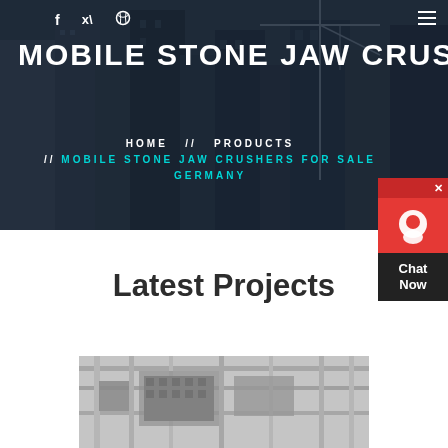[Figure (photo): Dark-tinted hero banner showing construction site with cranes and high-rise buildings under construction]
MOBILE STONE JAW CRUSHERS
HOME // PRODUCTS // MOBILE STONE JAW CRUSHERS FOR SALE GERMANY
Latest Projects
[Figure (photo): Industrial crusher machinery inside a facility]